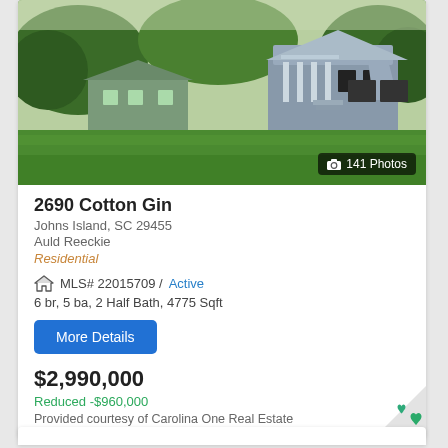[Figure (photo): Exterior photo of a large residential property with a green lawn, multiple buildings including a main house with columns and balcony, and smaller outbuildings surrounded by trees.]
2690 Cotton Gin
Johns Island, SC 29455
Auld Reeckie
Residential
MLS# 22015709 / Active
6 br, 5 ba, 2 Half Bath, 4775 Sqft
More Details
$2,990,000
Reduced -$960,000
Provided courtesy of Carolina One Real Estate